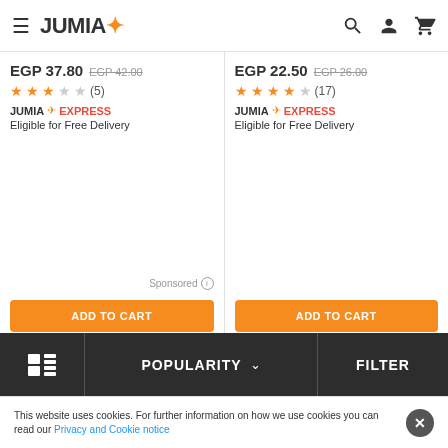JUMIA
EGP 37.80 EGP 42.00 ★★★☆☆ (5) JUMIA EXPRESS Eligible for Free Delivery Sponsored ADD TO CART
EGP 22.50 EGP 26.00 ★★★★☆ (17) JUMIA EXPRESS Eligible for Free Delivery ADD TO CART
Flash Sale
Free Shipping*
POPULARITY   FILTER
This website uses cookies. For further information on how we use cookies you can read our Privacy and Cookie notice